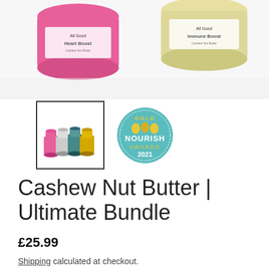[Figure (photo): Top portion of product photo showing colorful nut butter jars (pink and cream/yellow) with 'All Good' branding on a white background]
[Figure (photo): Thumbnail image of multiple small colorful nut butter jars (pink, silver, teal, gold) arranged in a row on white background]
[Figure (logo): Gold Nourish Awards 2021 badge — teal circular badge with gold text 'GOLD', three gold heart/drop icons, 'NOURISH AWARDS 2021']
Cashew Nut Butter | Ultimate Bundle
£25.99
Shipping calculated at checkout.